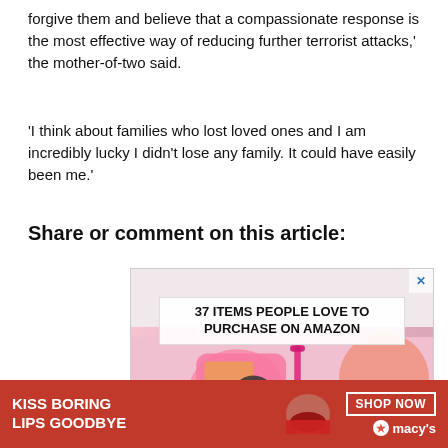forgive them and believe that a compassionate response is the most effective way of reducing further terrorist attacks,' the mother-of-two said.
'I think about families who lost loved ones and I am incredibly lucky I didn't lose any family. It could have easily been me.'
Share or comment on this article:
[Figure (screenshot): Advertisement showing a pink Fujifilm Instax camera with text '37 ITEMS PEOPLE LOVE TO PURCHASE ON AMAZON' and a CLOSE button]
[Figure (screenshot): Bottom banner advertisement: red background with 'KISS BORING LIPS GOODBYE' text and 'SHOP NOW' button with Macy's star logo]